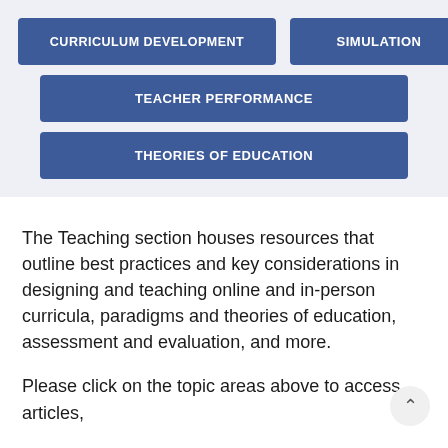[Figure (infographic): A group of clickable topic buttons on a light blue-gray background: 'CURRICULUM DEVELOPMENT', 'SIMULATION', 'TEACHER PERFORMANCE', 'THEORIES OF EDUCATION']
The Teaching section houses resources that outline best practices and key considerations in designing and teaching online and in-person curricula, paradigms and theories of education, assessment and evaluation, and more.
Please click on the topic areas above to access articles,